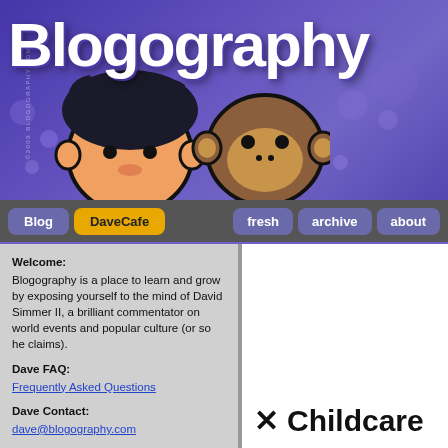[Figure (illustration): Blogography website header banner with purple background, cartoon characters (a boy and a monkey), and large white grunge-style 'Blogography' text. Copyright 2008 watermark on left side.]
Blog | DaveCafe | fresh | archive | about
Welcome:
Blogography is a place to learn and grow by exposing yourself to the mind of David Simmer II, a brilliant commentator on world events and popular culture (or so he claims).
Dave FAQ:
Frequently Asked Questions
Dave Contact:
dave@blogography.com
✕ Childcare